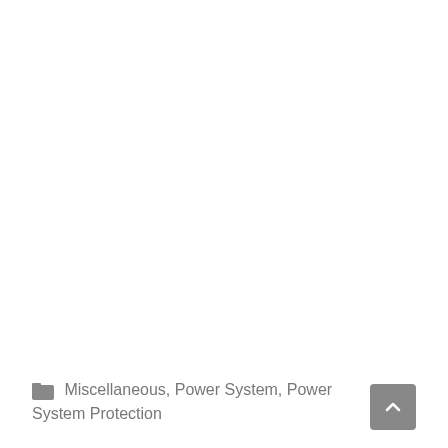Miscellaneous, Power System, Power System Protection